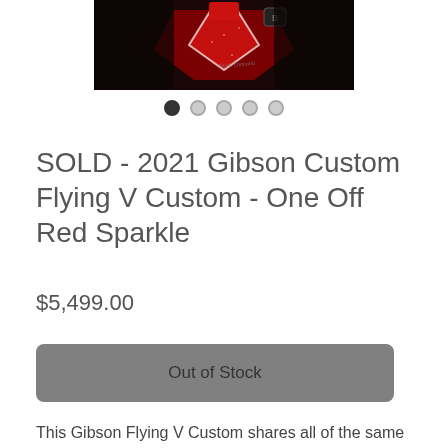[Figure (photo): Close-up photo of a red sparkle Gibson Flying V Custom guitar headstock and body against a dark background]
SOLD - 2021 Gibson Custom Flying V Custom - One Off Red Sparkle
$5,499.00
Out of Stock
This Gibson Flying V Custom shares all of the same feature of the standard